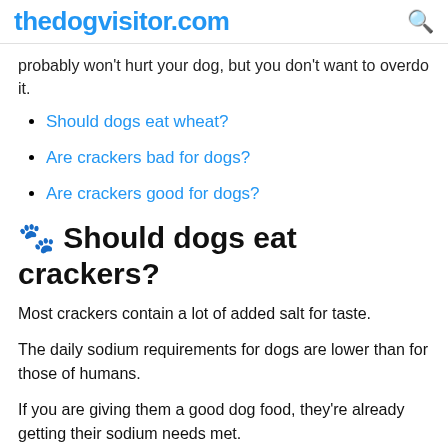thedogvisitor.com
probably won't hurt your dog, but you don't want to overdo it.
Should dogs eat wheat?
Are crackers bad for dogs?
Are crackers good for dogs?
🐾 Should dogs eat crackers?
Most crackers contain a lot of added salt for taste.
The daily sodium requirements for dogs are lower than for those of humans.
If you are giving them a good dog food, they're already getting their sodium needs met.